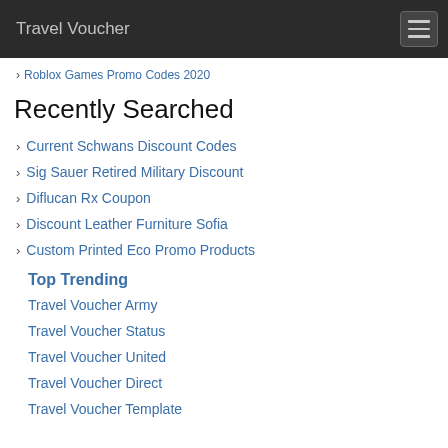Travel Voucher
Roblox Games Promo Codes 2020
Recently Searched
Current Schwans Discount Codes
Sig Sauer Retired Military Discount
Diflucan Rx Coupon
Discount Leather Furniture Sofia
Custom Printed Eco Promo Products
Top Trending
Travel Voucher Army
Travel Voucher Status
Travel Voucher United
Travel Voucher Direct
Travel Voucher Template